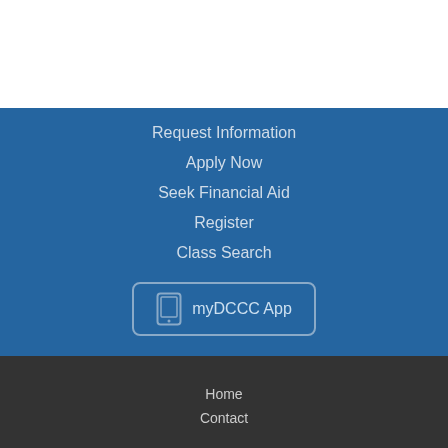Request Information
Apply Now
Seek Financial Aid
Register
Class Search
myDCCC App
Home
Contact